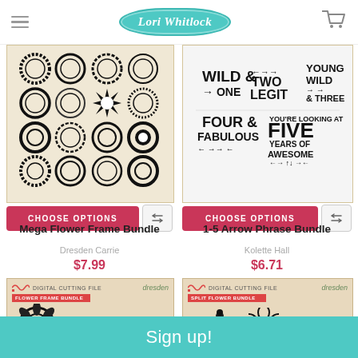Lori Whitlock
[Figure (illustration): Mega Flower Frame Bundle product image showing decorative circular frames]
[Figure (illustration): 1-5 Arrow Phrase Bundle product image showing arrow phrase designs: Wild & One, Two Legit, Young Wild & Three, Four & Fabulous, Five Years of Awesome]
CHOOSE OPTIONS
CHOOSE OPTIONS
Mega Flower Frame Bundle
Dresden Carrie
$7.99
1-5 Arrow Phrase Bundle
Kolette Hall
$6.71
[Figure (illustration): Flower Frame Bundle digital cutting file product packaging thumbnail]
[Figure (illustration): Split Flower Bundle digital cutting file product packaging thumbnail]
Sign up!